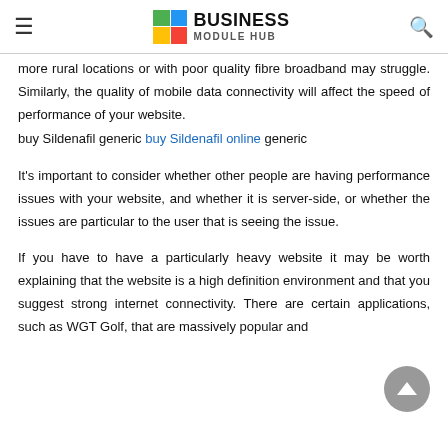BUSINESS MODULE HUB
more rural locations or with poor quality fibre broadband may struggle. Similarly, the quality of mobile data connectivity will affect the speed of performance of your website.
buy Sildenafil generic buy Sildenafil online generic
It's important to consider whether other people are having performance issues with your website, and whether it is server-side, or whether the issues are particular to the user that is seeing the issue.
If you have to have a particularly heavy website it may be worth explaining that the website is a high definition environment and that you suggest strong internet connectivity. There are certain applications, such as WGT Golf, that are massively popular and